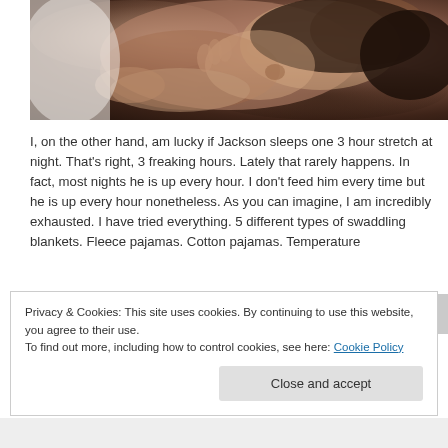[Figure (photo): Close-up photo of a sleeping newborn baby with dark hair, resting peacefully on a white surface.]
I, on the other hand, am lucky if Jackson sleeps one 3 hour stretch at night. That's right, 3 freaking hours. Lately that rarely happens. In fact, most nights he is up every hour. I don't feed him every time but he is up every hour nonetheless. As you can imagine, I am incredibly exhausted. I have tried everything. 5 different types of swaddling blankets. Fleece pajamas. Cotton pajamas. Temperature
Privacy & Cookies: This site uses cookies. By continuing to use this website, you agree to their use.
To find out more, including how to control cookies, see here: Cookie Policy
Close and accept